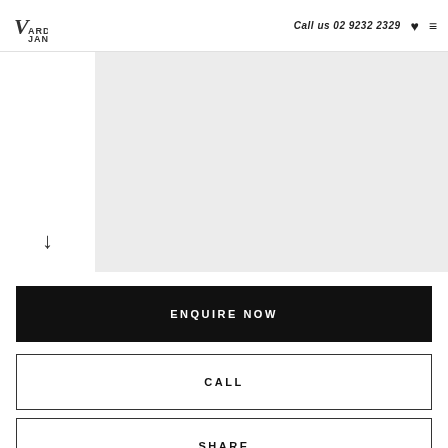VARDUJAN — Call us 02 9232 2329
[Figure (photo): Large light grey rectangular image placeholder area, positioned in the upper right portion of the page]
↓ (down arrow scroll indicator)
ENQUIRE NOW
CALL
SHARE